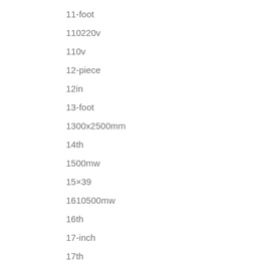11-foot
110220v
110v
12-piece
12in
13-foot
1300x2500mm
14th
1500mw
15×39
1610500mw
16th
17-inch
17th
1800s
1870's